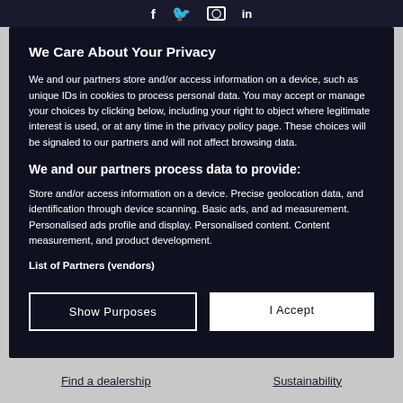Social media icons: Facebook, Twitter, Instagram, LinkedIn
We Care About Your Privacy
We and our partners store and/or access information on a device, such as unique IDs in cookies to process personal data. You may accept or manage your choices by clicking below, including your right to object where legitimate interest is used, or at any time in the privacy policy page. These choices will be signaled to our partners and will not affect browsing data.
We and our partners process data to provide:
Store and/or access information on a device. Precise geolocation data, and identification through device scanning. Basic ads, and ad measurement. Personalised ads profile and display. Personalised content. Content measurement, and product development.
List of Partners (vendors)
Show Purposes
I Accept
Find a dealership    Sustainability